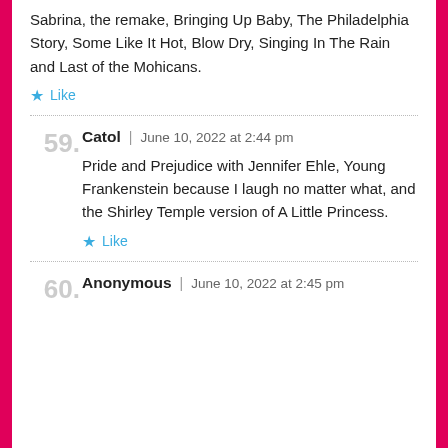Sabrina, the remake, Bringing Up Baby, The Philadelphia Story, Some Like It Hot, Blow Dry, Singing In The Rain and Last of the Mohicans.
★ Like
Catol | June 10, 2022 at 2:44 pm
Pride and Prejudice with Jennifer Ehle, Young Frankenstein because I laugh no matter what, and the Shirley Temple version of A Little Princess.
★ Like
Anonymous | June 10, 2022 at 2:45 pm